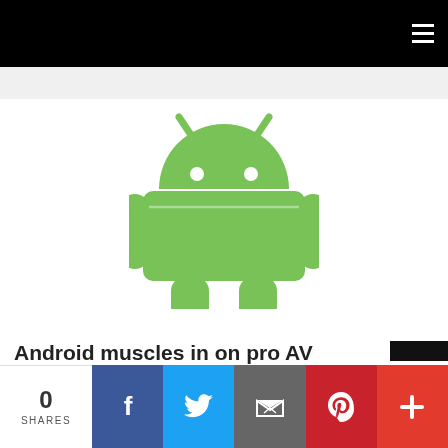Navigation menu
[Figure (logo): Android robot logo in green on white background]
Android muscles in on pro AV
0 SHARES | Facebook | Twitter | Email | Pinterest | More